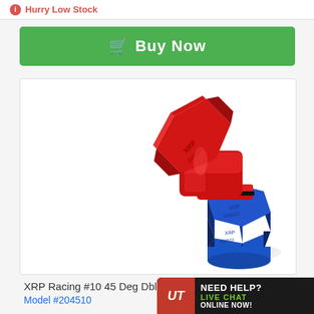Hurry Low Stock
Buy Now
[Figure (photo): XRP Racing #10 45 Degree Dual Swivel Hose End fitting — red anodized aluminum upper portion angled at 45 degrees, blue anodized aluminum hex nut lower portion, on white background.]
XRP Racing #10 45 Deg Dbl Swivel Hose End
Model #204510
[Figure (logo): Underdog Motorsports Live Chat banner — UT logo in red circle, 'NEED HELP? LIVE CHAT ONLINE NOW!' text on black background with green accent text.]